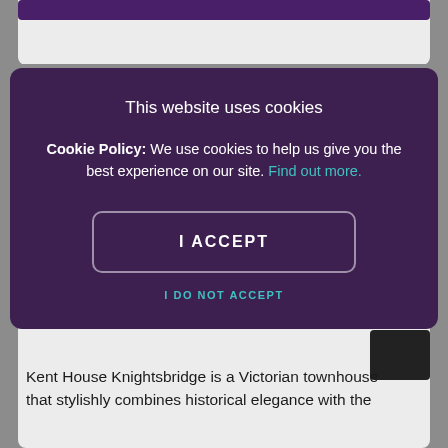This website uses cookies
Cookie Policy: We use cookies to help us give you the best experience on our site. Find out more.
I ACCEPT
I DO NOT ACCEPT
Kent House Knightsbridge is a Victorian townhouse that stylishly combines historical elegance with the